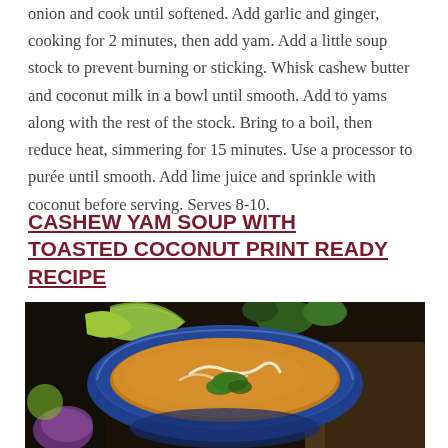onion and cook until softened. Add garlic and ginger, cooking for 2 minutes, then add yam. Add a little soup stock to prevent burning or sticking. Whisk cashew butter and coconut milk in a bowl until smooth. Add to yams along with the rest of the stock. Bring to a boil, then reduce heat, simmering for 15 minutes. Use a processor to purée until smooth. Add lime juice and sprinkle with coconut before serving. Serves 8-10.
CASHEW YAM SOUP WITH TOASTED COCONUT PRINT READY RECIPE
[Figure (photo): Photo of cashew yam soup in a blue decorative bowl with cream swirls and herb garnish, surrounded by limes and vegetables on a dark background]